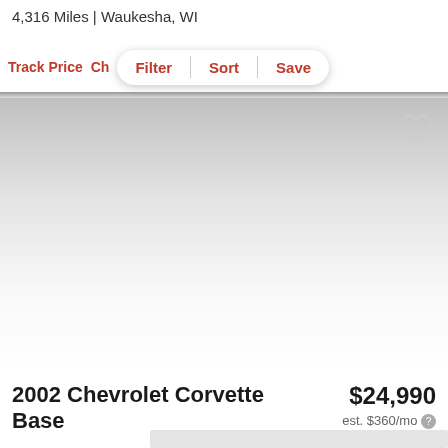4,316 Miles | Waukesha, WI
Track Price
Filter | Sort | Save
[Figure (photo): Car listing image area with gradient background (image not loaded), heart/save icon in top-right corner]
2002 Chevrolet Corvette Base
$24,990
est. $360/mo